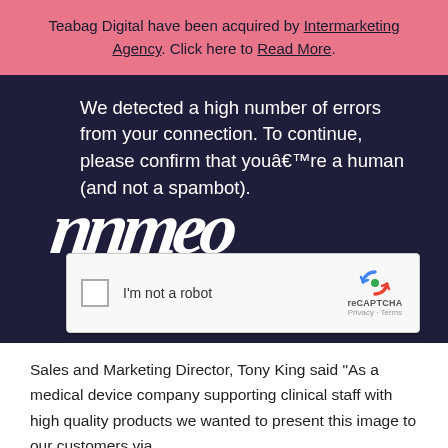Teabag Digital have been acquired by Intermarketing Agency. Click here to Read More.
[Figure (screenshot): Screenshot of a browser error page with dark navy background showing reCAPTCHA challenge. Text reads 'We detected a high number of errors from your connection. To continue, please confirm that youâ€™re a human (and not a spambot).' with large stylized italic text and a reCAPTCHA checkbox widget.]
Sales and Marketing Director, Tony King said “As a medical device company supporting clinical staff with high quality products we wanted to present this image to our customers via